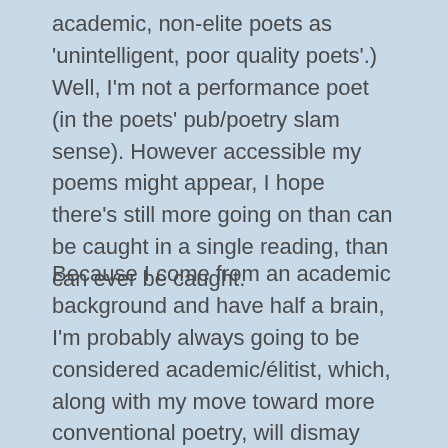academic, non-elite poets as 'unintelligent, poor quality poets'.) Well, I'm not a performance poet (in the poets' pub/poetry slam sense). However accessible my poems might appear, I hope there's still more going on than can be caught in a single reading, than can ever be caught.
Because I come from an academic background and have half a brain, I'm probably always going to be considered academic/élitist, which, along with my move toward more conventional poetry, will dismay those who really are pushing poetry's boundaries. They probably see me as a writer of light verse. And good on them, poetry needs people to push language around – that's the place where the really exciting things are going to happen…as well as the place where fakes are